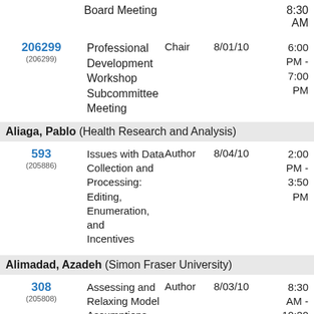| ID | Title | Role | Date | Time |
| --- | --- | --- | --- | --- |
|  | Board Meeting |  |  | 8:30 AM |
| 206299 (206299) | Professional Development Workshop Subcommittee Meeting | Chair | 8/01/10 | 6:00 PM - 7:00 PM |
Aliaga, Pablo (Health Research and Analysis)
| ID | Title | Role | Date | Time |
| --- | --- | --- | --- | --- |
| 593 (205886) | Issues with Data Collection and Processing: Editing, Enumeration, and Incentives | Author | 8/04/10 | 2:00 PM - 3:50 PM |
Alimadad, Azadeh (Simon Fraser University)
| ID | Title | Role | Date | Time |
| --- | --- | --- | --- | --- |
| 308 (205808) | Assessing and Relaxing Model Assumptions | Author | 8/03/10 | 8:30 AM - 10:20 AM |